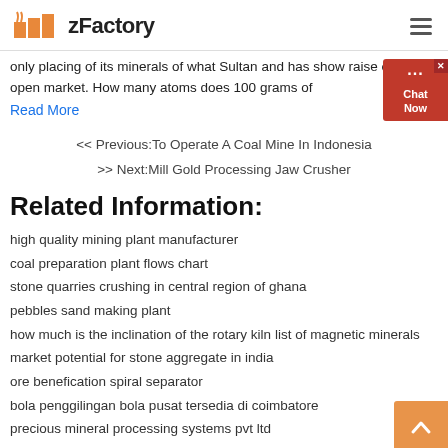zFactory
only placing of its minerals of what Sultan and has show raise on the open market. How many atoms does 100 grams of
Read More
<< Previous:To Operate A Coal Mine In Indonesia
>> Next:Mill Gold Processing Jaw Crusher
Related Information:
high quality mining plant manufacturer
coal preparation plant flows chart
stone quarries crushing in central region of ghana
pebbles sand making plant
how much is the inclination of the rotary kiln list of magnetic minerals
market potential for stone aggregate in india
ore benefication spiral separator
bola penggilingan bola pusat tersedia di coimbatore
precious mineral processing systems pvt ltd